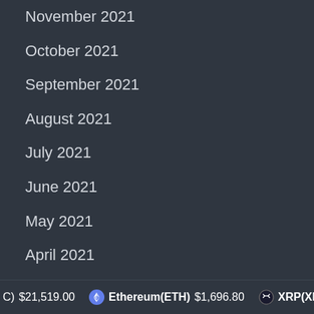November 2021
October 2021
September 2021
August 2021
July 2021
June 2021
May 2021
April 2021
March 2021
February 2021
January 2021
C) $21,519.00   Ethereum(ETH) $1,696.80   XRP(XRP) $0.346